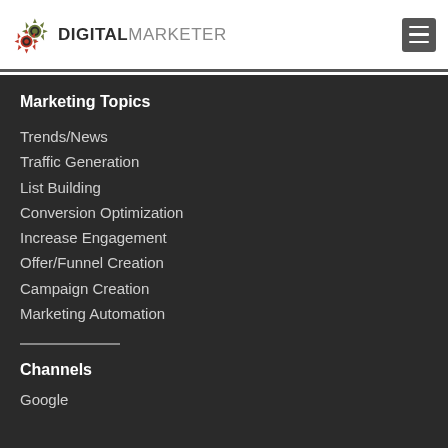DIGITAL MARKETER
Marketing Topics
Trends/News
Traffic Generation
List Building
Conversion Optimization
Increase Engagement
Offer/Funnel Creation
Campaign Creation
Marketing Automation
Channels
Google